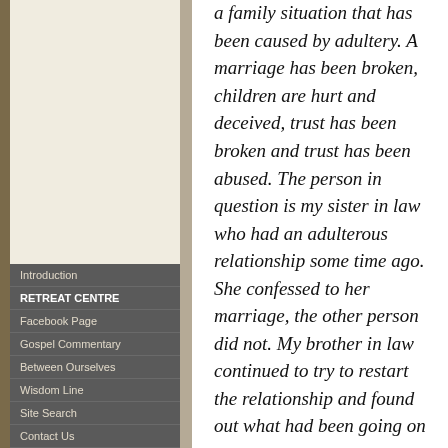Introduction
RETREAT CENTRE
Facebook Page
Gospel Commentary
Between Ourselves
Wisdom Line
Site Search
Contact Us
Dear Donagh,
I find myself on the edge of a family situation that has been caused by adultery. A marriage has been broken, children are hurt and deceived, trust has been broken and trust has been abused. The person in question is my sister in law who had an adulterous relationship some time ago. She confessed to her marriage, the other person did not. My brother in law continued to try to restart the relationship and found out what had been going on